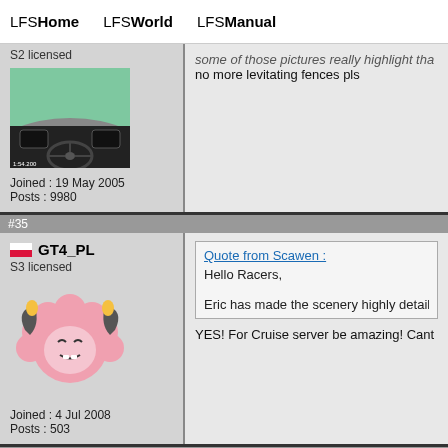LFSHome  LFSWorld  LFSManual
S2 licensed
Joined : 19 May 2005
Posts : 9980
some of those pictures really highlight tha no more levitating fences pls
#35
GT4_PL
S3 licensed
Joined : 4 Jul 2008
Posts : 503
Quote from Scawen :
Hello Racers,

Eric has made the scenery highly detail
YES! For Cruise server be amazing! Cant
#36
pantiainen
S3 licensed
Awesome pics! Good work, keep it up! Bu New Westhill looks magnificient!